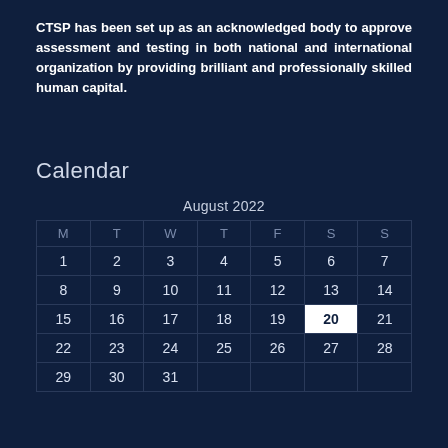CTSP has been set up as an acknowledged body to approve assessment and testing in both national and international organization by providing brilliant and professionally skilled human capital.
Calendar
| M | T | W | T | F | S | S |
| --- | --- | --- | --- | --- | --- | --- |
| 1 | 2 | 3 | 4 | 5 | 6 | 7 |
| 8 | 9 | 10 | 11 | 12 | 13 | 14 |
| 15 | 16 | 17 | 18 | 19 | 20 | 21 |
| 22 | 23 | 24 | 25 | 26 | 27 | 28 |
| 29 | 30 | 31 |  |  |  |  |